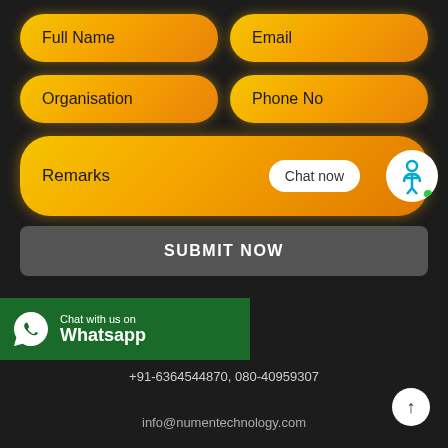Full Name
Email
Organisation
Phone No
Remarks
Chat now
SUBMIT NOW
[Figure (logo): Chat with us on Whatsapp banner with WhatsApp logo icon]
+91-6364544870, 080-40959307
info@numentechnology.com